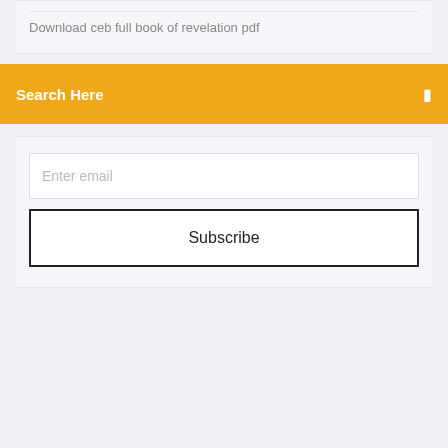Download ceb full book of revelation pdf
Search Here
Enter email
Subscribe